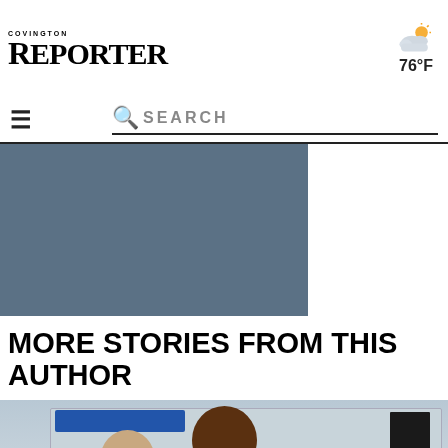COVINGTON REPORTER — 76°F
☰  🔍 SEARCH
[Figure (photo): Gray advertisement placeholder block]
MORE STORIES FROM THIS AUTHOR
[Figure (photo): Two young women walking in front of a Sound Transit train at a station platform; a person in the background near the train door]